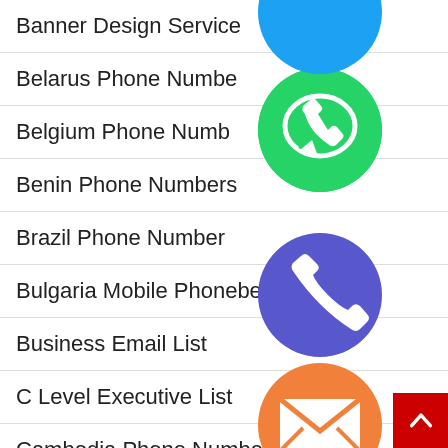Banner Design Service
Belarus Phone Number
Belgium Phone Number
Benin Phone Numbers
Brazil Phone Number
Bulgaria Mobile Phone Numbers
Business Email List
C Level Executive List
Cambodia Phone Number
[Figure (infographic): Floating social media and messaging app icons (WhatsApp green, Viber purple, phone/call purple, email orange, LINE green, Viber purple, close green) overlaid on the list on the right side]